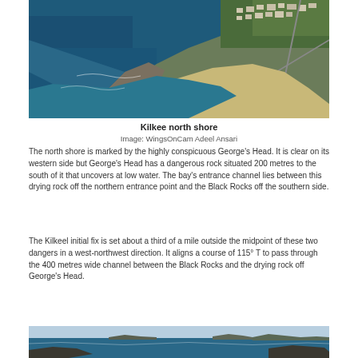[Figure (photo): Aerial photograph of Kilkee north shore showing coastline, town, roads, cliffs, beach, and blue sea water]
Kilkee north shore
Image: WingsOnCam Adeel Ansari
The north shore is marked by the highly conspicuous George's Head. It is clear on its western side but George's Head has a dangerous rock situated 200 metres to the south of it that uncovers at low water. The bay's entrance channel lies between this drying rock off the northern entrance point and the Black Rocks off the southern side.
The Kilkeel initial fix is set about a third of a mile outside the midpoint of these two dangers in a west-northwest direction. It aligns a course of 115° T to pass through the 400 metres wide channel between the Black Rocks and the drying rock off George's Head.
[Figure (photo): Coastal photograph showing sea and distant headland or rocks at the horizon]